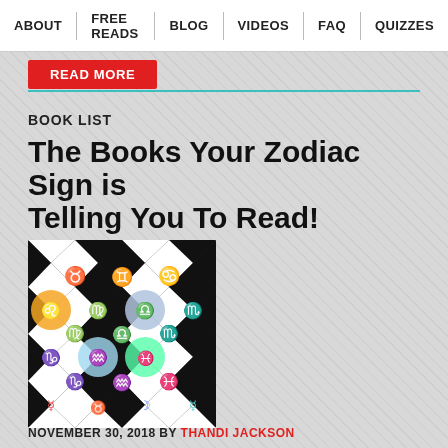ABOUT | FREE READS | BLOG | VIDEOS | FAQ | QUIZZES
READ MORE
BOOK LIST
The Books Your Zodiac Sign is Telling You To Read!
[Figure (illustration): Zodiac signs illustrated on a black and white diamond checkerboard pattern with colorful astrological symbols including Taurus, Gemini, Cancer, Leo, Virgo, Libra, Scorpio, Capricorn, Aquarius, Pisces and others]
NOVEMBER 30, 2018 BY THANDI JACKSON